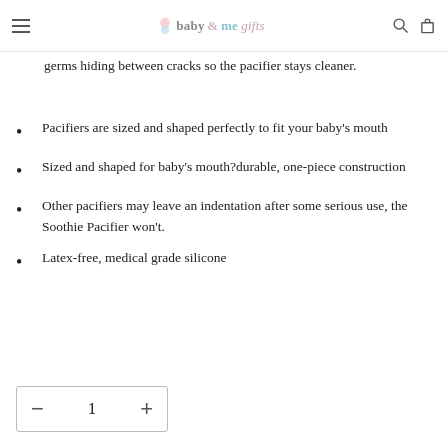baby & me gifts
germs hiding between cracks so the pacifier stays cleaner.
Pacifiers are sized and shaped perfectly to fit your baby's mouth
Sized and shaped for baby's mouth?durable, one-piece construction
Other pacifiers may leave an indentation after some serious use, the Soothie Pacifier won't.
Latex-free, medical grade silicone